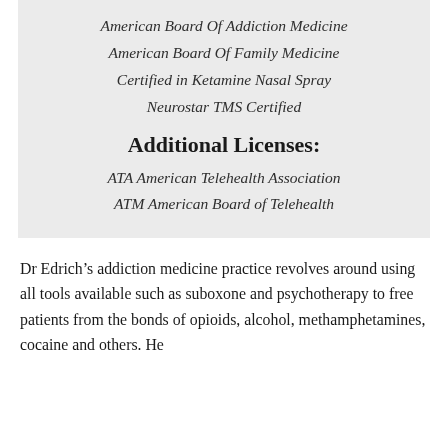American Board Of Addiction Medicine
American Board Of Family Medicine
Certified in Ketamine Nasal Spray
Neurostar TMS Certified
Additional Licenses:
ATA American Telehealth Association
ATM American Board of Telehealth
Dr Edrich’s addiction medicine practice revolves around using all tools available such as suboxone and psychotherapy to free patients from the bonds of opioids, alcohol, methamphetamines, cocaine and others. He